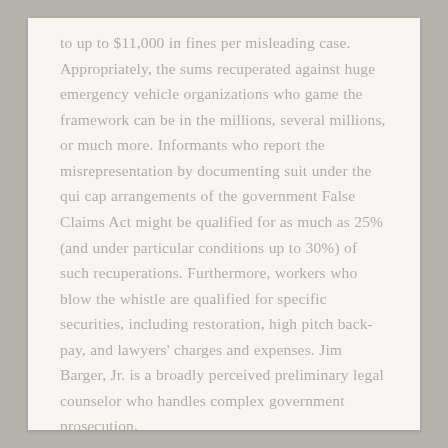to up to $11,000 in fines per misleading case. Appropriately, the sums recuperated against huge emergency vehicle organizations who game the framework can be in the millions, several millions, or much more. Informants who report the misrepresentation by documenting suit under the qui cap arrangements of the government False Claims Act might be qualified for as much as 25% (and under particular conditions up to 30%) of such recuperations. Furthermore, workers who blow the whistle are qualified for specific securities, including restoration, high pitch back-pay, and lawyers' charges and expenses. Jim Barger, Jr. is a broadly perceived preliminary legal counselor who handles complex government prosecution,